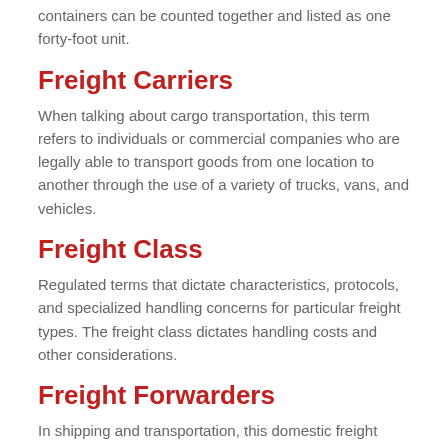containers can be counted together and listed as one forty-foot unit.
Freight Carriers
When talking about cargo transportation, this term refers to individuals or commercial companies who are legally able to transport goods from one location to another through the use of a variety of trucks, vans, and vehicles.
Freight Class
Regulated terms that dictate characteristics, protocols, and specialized handling concerns for particular freight types. The freight class dictates handling costs and other considerations.
Freight Forwarders
In shipping and transportation, this domestic freight